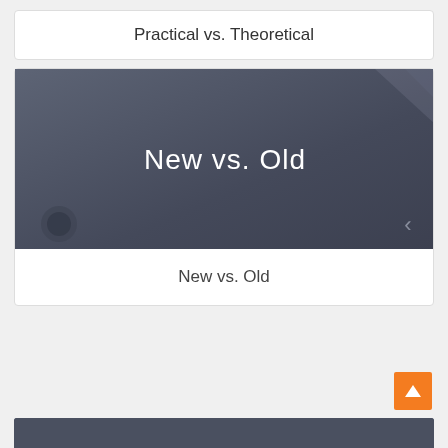Practical vs. Theoretical
[Figure (screenshot): A dark grey slide thumbnail showing the text 'New vs. Old' in white, with navigation arrows and a corner fold decoration.]
New vs. Old
[Figure (screenshot): Partial view of another dark grey slide thumbnail at the bottom of the page.]